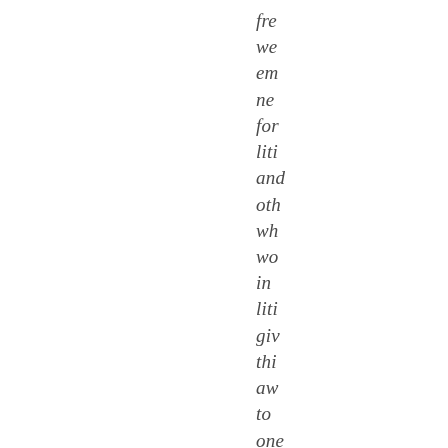fre
we
em
ne
for
liti
and
oth
wh
wo
in
liti
giv
thi
aw
to
one
art
eve